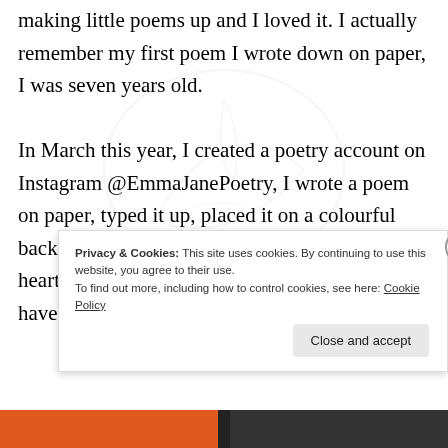making little poems up and I loved it. I actually remember my first poem I wrote down on paper, I was seven years old.

In March this year, I created a poetry account on Instagram @EmmaJanePoetry, I wrote a poem on paper, typed it up, placed it on a colourful background and clicked upload. I could feel my heart thudding in my chest as I waited. What have I done? What if people
Privacy & Cookies: This site uses cookies. By continuing to use this website, you agree to their use.
To find out more, including how to control cookies, see here: Cookie Policy
Close and accept